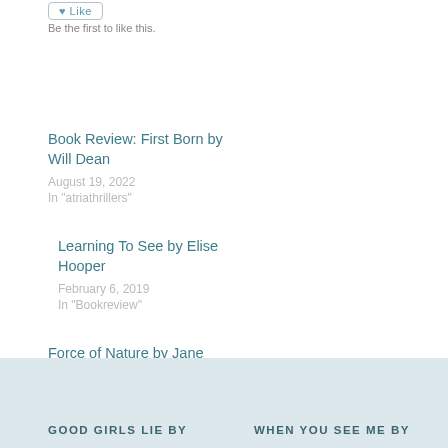Be the first to like this.
Book Review: First Born by Will Dean
August 19, 2022
In "atriathrillers"
Learning To See by Elise Hooper
February 6, 2019
In "Bookreview"
Force of Nature by Jane Harper
January 14, 2018
In "Bookreview"
BOOKREVIEW
FICTION
SUCHAFUNAGE
GOOD GIRLS LIE BY    WHEN YOU SEE ME BY